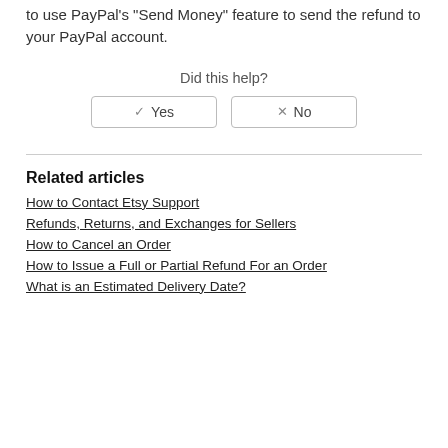to use PayPal's 'Send Money' feature to send the refund to your PayPal account.
Did this help?
✓ Yes  ✕ No
Related articles
How to Contact Etsy Support
Refunds, Returns, and Exchanges for Sellers
How to Cancel an Order
How to Issue a Full or Partial Refund For an Order
What is an Estimated Delivery Date?